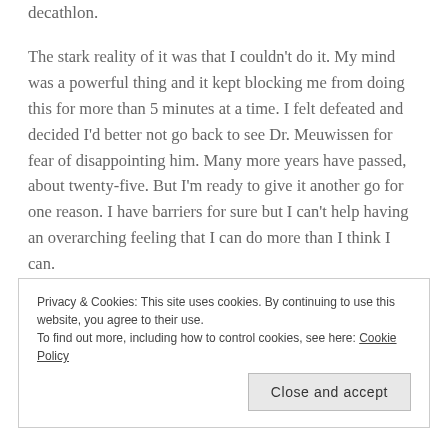decathlon.
The stark reality of it was that I couldn't do it. My mind was a powerful thing and it kept blocking me from doing this for more than 5 minutes at a time. I felt defeated and decided I'd better not go back to see Dr. Meuwissen for fear of disappointing him. Many more years have passed, about twenty-five. But I'm ready to give it another go for one reason. I have barriers for sure but I can't help having an overarching feeling that I can do more than I think I can.
If you have any tips or encouraging stories to share about how you came to love running. I'm all ears.
Privacy & Cookies: This site uses cookies. By continuing to use this website, you agree to their use.
To find out more, including how to control cookies, see here: Cookie Policy
Close and accept